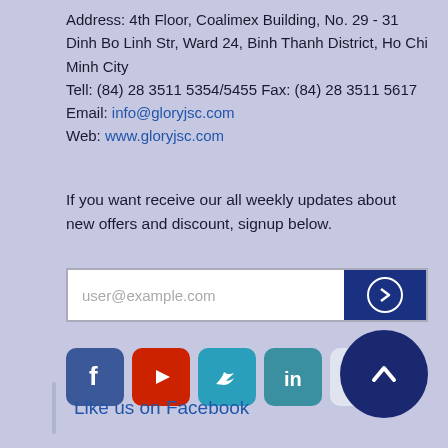Address: 4th Floor, Coalimex Building, No. 29 - 31 Dinh Bo Linh Str, Ward 24, Binh Thanh District, Ho Chi Minh City
Tell: (84) 28 3511 5354/5455 Fax: (84) 28 3511 5617
Email: info@gloryjsc.com
Web: www.gloryjsc.com
If you want receive our all weekly updates about new offers and discount, signup below.
[Figure (infographic): Email signup form with input field showing placeholder 'user@example.com' and a dark blue submit button with right-arrow circle icon]
[Figure (infographic): Row of social media icons: Facebook (blue), YouTube (red), Twitter (teal), LinkedIn (teal), Email (light gray), Pinterest (red), and a dark blue scroll-to-top button with upward chevron]
Like us on Facebook